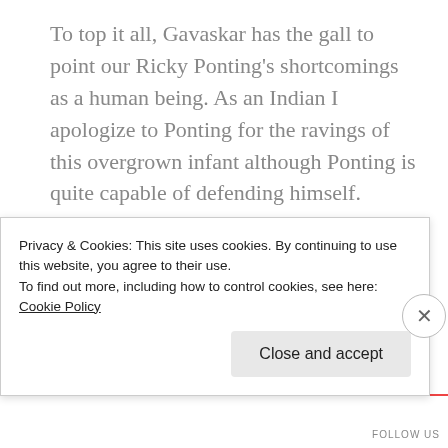To top it all, Gavaskar has the gall to point our Ricky Ponting's shortcomings as a human being. As an Indian I apologize to Ponting for the ravings of this overgrown infant although Ponting is quite capable of defending himself.
Another thing. I am sure the Indian team prefers sledging over (back)stabbing. I mean who has harmed Indian cricket's long term future prospects more: Ponting or
Privacy & Cookies: This site uses cookies. By continuing to use this website, you agree to their use.
To find out more, including how to control cookies, see here: Cookie Policy